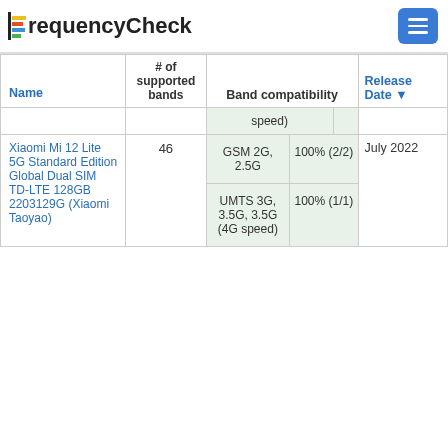FrequencyCheck
| Name | # of supported bands | Band compatibility | Release Date ▼ |
| --- | --- | --- | --- |
|  |  | speed) |  |
| Xiaomi Mi 12 Lite 5G Standard Edition Global Dual SIM TD-LTE 128GB 2203129G (Xiaomi Taoyao) | 46 | GSM 2G, 2.5G | 100% (2/2) / UMTS 3G, 3.5G, 3.5G (4G speed) | 100% (1/1) | July 2022 |